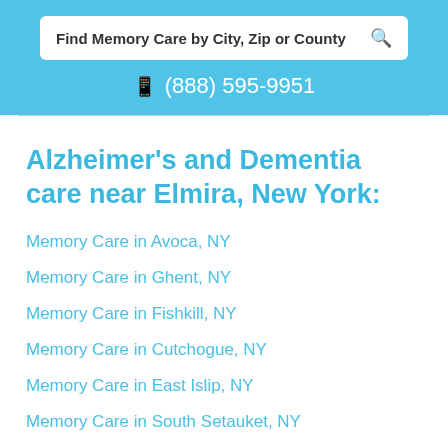Find Memory Care by City, Zip or County
(888) 595-9951
Alzheimer's and Dementia care near Elmira, New York:
Memory Care in Avoca, NY
Memory Care in Ghent, NY
Memory Care in Fishkill, NY
Memory Care in Cutchogue, NY
Memory Care in East Islip, NY
Memory Care in South Setauket, NY